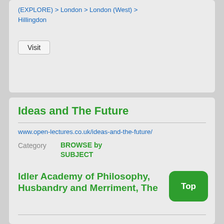(EXPLORE) > London > London (West) > Hillingdon
Visit
Ideas and The Future
www.open-lectures.co.uk/ideas-and-the-future/
Category  BROWSE by SUBJECT
Category  A-Z of SUBJECTS > BROWSE by SUBJECT
Visit
Idler Academy of Philosophy, Husbandry and Merriment, The
Top